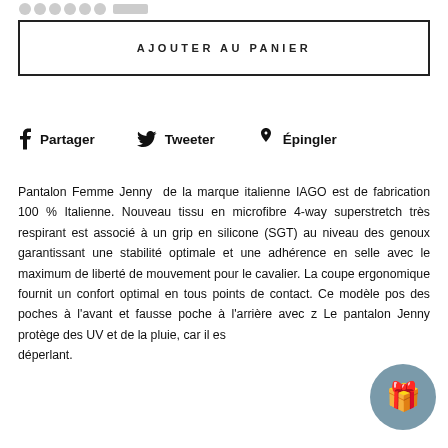[Figure (logo): Partial logo/brand mark at top left, greyed out]
AJOUTER AU PANIER
f Partager   🐦 Tweeter   𝒑 Épingler
Pantalon Femme Jenny  de la marque italienne IAGO est de fabrication 100 % Italienne. Nouveau tissu en microfibre 4-way superstretch très respirant est associé à un grip en silicone (SGT) au niveau des genoux garantissant une stabilité optimale et une adhérence en selle avec le maximum de liberté de mouvement pour le cavalier. La coupe ergonomique fournit un confort optimal en tous points de contact. Ce modèle pos des poches à l'avant et fausse poche à l'arrière avec z Le pantalon Jenny protège des UV et de la pluie, car il es déperlant.